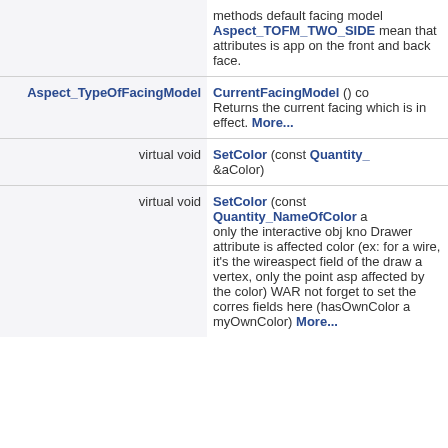| Type/Qualifier | Method/Description |
| --- | --- |
|  | methods default facing model Aspect_TOFM_TWO_SIDE mean that attributes is app on the front and back face. |
| Aspect_TypeOfFacingModel | CurrentFacingModel () co Returns the current facing which is in effect. More... |
| virtual void | SetColor (const Quantity_ &aColor) |
| virtual void | SetColor (const Quantity_NameOfColor a only the interactive obj kno Drawer attribute is affected color (ex: for a wire, it's the wireaspect field of the draw a vertex, only the point asp affected by the color) WAR not forget to set the corres fields here (hasOwnColor a myOwnColor) More... |